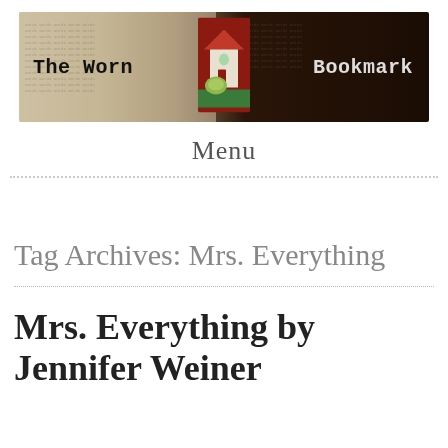[Figure (illustration): Banner header image for 'The Worn Bookmark' blog. Dark background with book/painting in center. Left side shows 'The Worn' in typewriter font on a lighter newspaper-like background, right side shows 'Bookmark' in typewriter font on a dark background.]
Menu
Tag Archives: Mrs. Everything
Mrs. Everything by Jennifer Weiner